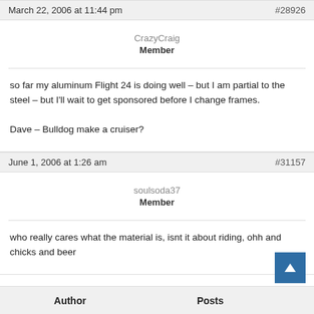March 22, 2006 at 11:44 pm  #28926
CrazyCraig
Member
so far my aluminum Flight 24 is doing well – but I am partial to the steel – but I'll wait to get sponsored before I change frames.

Dave – Bulldog make a cruiser?
June 1, 2006 at 1:26 am  #31157
soulsoda37
Member
who really cares what the material is, isnt it about riding, ohh and chicks and beer
Author  Posts